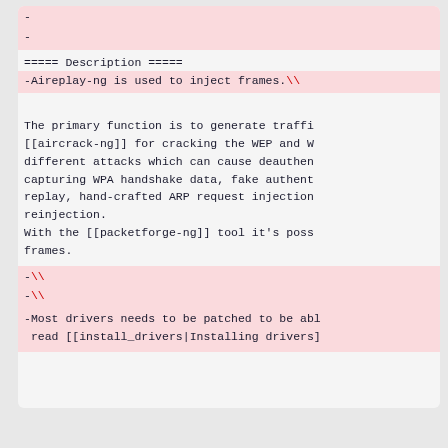-
-
===== Description =====
-Aireplay-ng is used to inject frames.\\
The primary function is to generate traffi
[[aircrack-ng]] for cracking the WEP and W
different attacks which can cause deauthen
capturing WPA handshake data, fake authent
replay, hand-crafted ARP request injection
reinjection.
With the [[packetforge-ng]] tool it's poss
frames.
-\\
-\\
-Most drivers needs to be patched to be abl
 read [[install_drivers|Installing drivers]